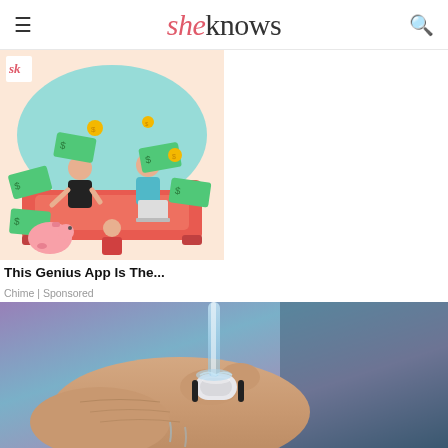sheknows
[Figure (illustration): Illustration of a family sitting on a sofa surrounded by money bills and coins, with a piggy bank, on a teal/peach background. SheKnows logo visible top-left.]
This Genius App Is The...
Chime | Sponsored
[Figure (photo): Close-up photo of a hand wearing a smart ring device under running water, with a blurred purple/blue background.]